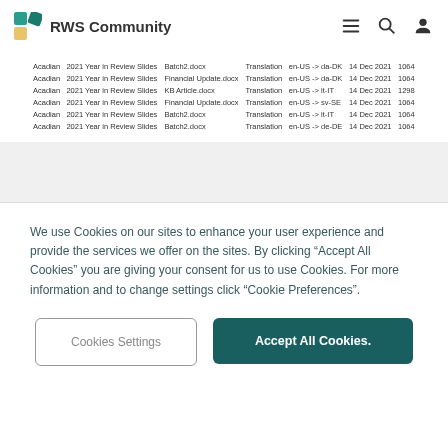RWS Community
| Acadian | 2021 Year in Review Slides | Batch2.docx | Translation | en-US -> da-DK | 14 Dec 2021 | 1064 |
| Acadian | 2021 Year in Review Slides | Financial Update.docx | Translation | en-US -> da-DK | 14 Dec 2021 | 1064 |
| Acadian | 2021 Year in Review Slides | KB Article.docx | Translation | en-US -> it-IT | 14 Dec 2021 | 1298 |
| Acadian | 2021 Year in Review Slides | Financial Update.docx | Translation | en-US -> sv-SE | 14 Dec 2021 | 1064 |
| Acadian | 2021 Year in Review Slides | Batch2.docx | Translation | en-US -> it-IT | 14 Dec 2021 | 1064 |
| Acadian | 2021 Year in Review Slides | Batch2.docx | Translation | en-US -> de-DE | 14 Dec 2021 | 1064 |
Batch download/upload improvements
We have introduced a number of enhancements to the batch download and upload functionality based on your feedback. These include:
We use Cookies on our sites to enhance your user experience and provide the services we offer on the sites. By clicking “Accept All Cookies” you are giving your consent for us to use Cookies. For more information and to change settings click “Cookie Preferences”.
Cookies Settings
Accept All Cookies.